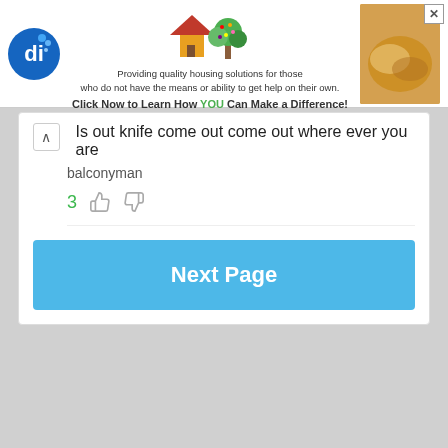[Figure (other): Advertisement banner for GivingTreeHousing with logo, house illustration, text about providing quality housing solutions, and a photo of hands]
Is out knife come out come out where ever you are
balconyman
3
Next Page
Facebook  Instagram  Twitter  Pinterest  About  FAQ  Rules  Contact  View Desktop Site  © 2020 FunSubstance